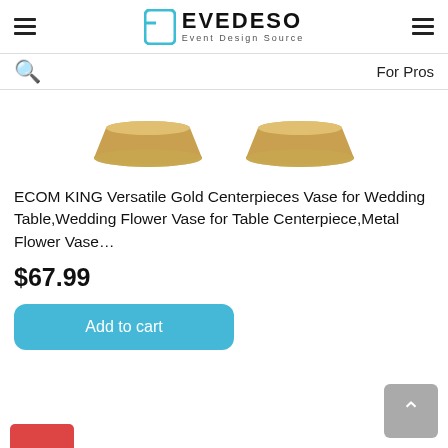EVEDESO Event Design Source
For Pros
[Figure (photo): Two gold bowl-shaped vases/centerpieces partially visible at bottom of product image]
ECOM KING Versatile Gold Centerpieces Vase for Wedding Table,Wedding Flower Vase for Table Centerpiece,Metal Flower Vase…
$67.99
Add to cart